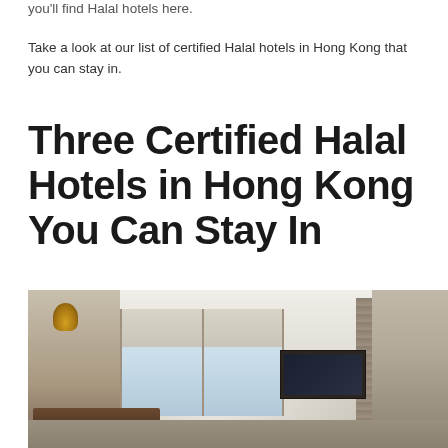you'll find Halal hotels here.
Take a look at our list of certified Halal hotels in Hong Kong that you can stay in.
Three Certified Halal Hotels in Hong Kong You Can Stay In
[Figure (photo): Interior photo of a luxury hotel room with a large bed with olive/green blanket, floor-to-ceiling windows with curtains, a TV unit, and modern decor in neutral tones.]